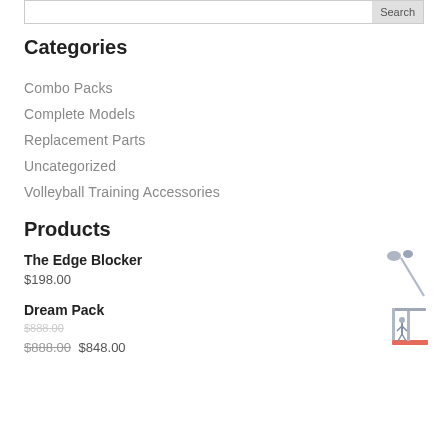Categories
Combo Packs
Complete Models
Replacement Parts
Uncategorized
Volleyball Training Accessories
Products
The Edge Blocker
$198.00
Dream Pack
$888.00 $848.00
[Figure (illustration): Small illustration of The Edge Blocker product - a stick-like device with a head]
[Figure (illustration): Small illustration of Dream Pack product - a training equipment setup with red base]